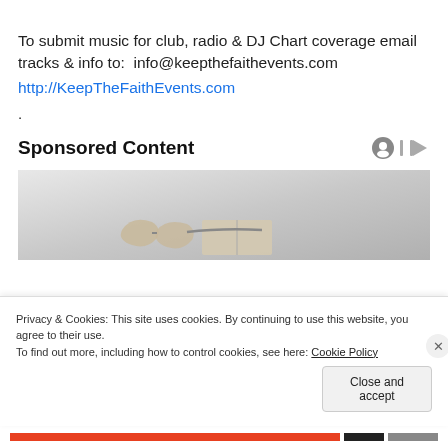To submit music for club, radio & DJ Chart coverage email tracks & info to:  info@keepthefaithevents.com
http://KeepTheFaithEvents.com
.
Sponsored Content
[Figure (photo): Sponsored content advertisement image showing blurred objects (appears to be glasses/book) on a light gray gradient background]
Privacy & Cookies: This site uses cookies. By continuing to use this website, you agree to their use.
To find out more, including how to control cookies, see here: Cookie Policy